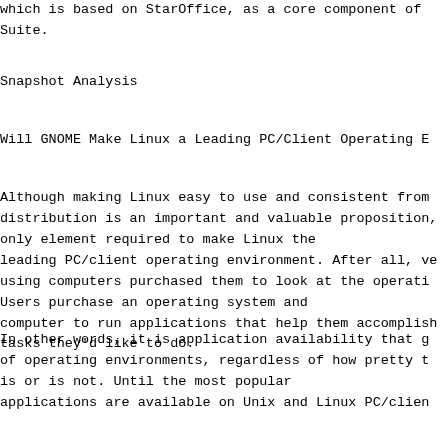which is based on StarOffice, as a core component of Suite.
Snapshot Analysis
Will GNOME Make Linux a Leading PC/Client Operating E
Although making Linux easy to use and consistent from distribution is an important and valuable proposition, only element required to make Linux the leading PC/client operating environment. After all, ve using computers purchased them to look at the operati Users purchase an operating system and computer to run applications that help them accomplish tasks they'd like to do.
In other words, it is application availability that g of operating environments, regardless of how pretty t is or is not. Until the most popular applications are available on Unix and Linux PC/clien